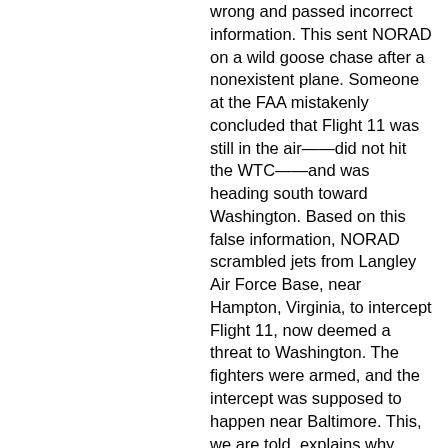wrong and passed incorrect information. This sent NORAD on a wild goose chase after a nonexistent plane. Someone at the FAA mistakenly concluded that Flight 11 was still in the air——did not hit the WTC——and was heading south toward Washington. Based on this false information, NORAD scrambled jets from Langley Air Force Base, near Hampton, Virginia, to intercept Flight 11, now deemed a threat to Washington. The fighters were armed, and the intercept was supposed to happen near Baltimore. This, we are told, explains why there were no fighters available to defend the nation's capital when Flight 77 mysteriously appeared on the radar screens just six miles SW of Washington. By then, of course, it was too late. Oh, and by the way, when the error was finally discovered and the fighters were rerouted to the capital, the military learned, to everyone's great surprise, that the jets were NOT were they were